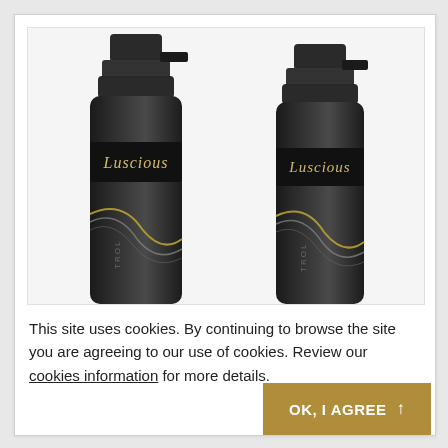[Figure (photo): Two black spray bottles with 'Luscious' label and decorative swirl design, shown side by side against a light gray background]
This site uses cookies. By continuing to browse the site you are agreeing to our use of cookies. Review our cookies information for more details.
[Figure (other): Golden/tan colored button with text 'OK, I AGREE' and upward arrow icon]